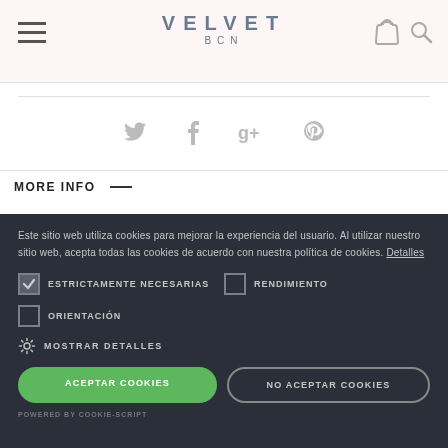VELVET BCN
[Figure (other): Social media icons row: Twitter, Facebook, Google+, Pinterest]
MORE INFO —
Este sitio web utiliza cookies para mejorar la experiencia del usuario. Al utilizar nuestro sitio web, acepta todas las cookies de acuerdo con nuestra política de cookies. Detalles
ESTRICTAMENTE NECESARIAS (checked) | RENDIMIENTO (unchecked) | ORIENTACIÓN (unchecked)
MOSTRAR DETALLES
ACEPTAR COOKIES | NO ACEPTAR COOKIES
POWERED BY COOKIE-SCRIPT